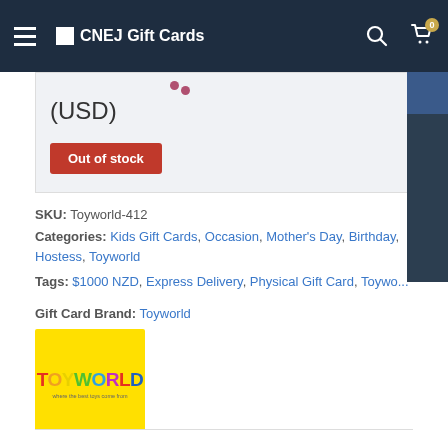CNEJ Gift Cards
(USD)
Out of stock
USD $
GBP £
AUD $
NZD $
EUR €
SKU: Toyworld-412
Categories: Kids Gift Cards, Occasion, Mother's Day, Birthday, Hostess, Toyworld
Tags: $1000 NZD, Express Delivery, Physical Gift Card, Toyworld
Gift Card Brand: Toyworld
[Figure (logo): Toyworld logo on yellow background with colorful text]